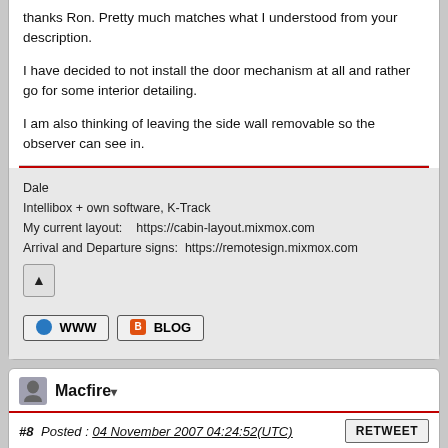thanks Ron. Pretty much matches what I understood from your description.
I have decided to not install the door mechanism at all and rather go for some interior detailing.
I am also thinking of leaving the side wall removable so the observer can see in.
Dale
Intellibox + own software, K-Track
My current layout:    https://cabin-layout.mixmox.com
Arrival and Departure signs:  https://remotesign.mixmox.com
Macfire
#8  Posted :  04 November 2007 04:24:52(UTC)
RETWEET
Dale,
Leah built ours (a 72281 so I can compare the differences that I am aware of), I will get her comments and get back to you - or she can reply direct.